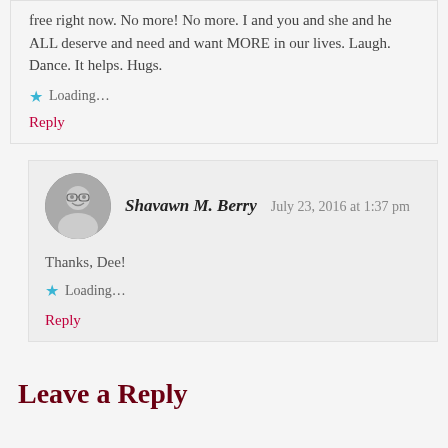free right now. No more! No more. I and you and she and he ALL deserve and need and want MORE in our lives. Laugh. Dance. It helps. Hugs.
Loading...
Reply
Shavawn M. Berry  July 23, 2016 at 1:37 pm
Thanks, Dee!
Loading...
Reply
Leave a Reply